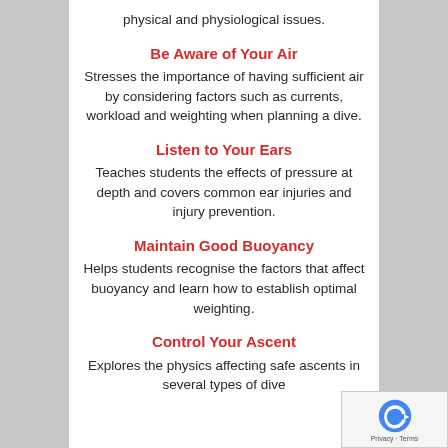physical and physiological issues.
Be Aware of Your Air
Stresses the importance of having sufficient air by considering factors such as currents, workload and weighting when planning a dive.
Listen to Your Ears
Teaches students the effects of pressure at depth and covers common ear injuries and injury prevention.
Maintain Good Buoyancy
Helps students recognise the factors that affect buoyancy and learn how to establish optimal weighting.
Control Your Ascent
Explores the physics affecting safe ascents in several types of dive